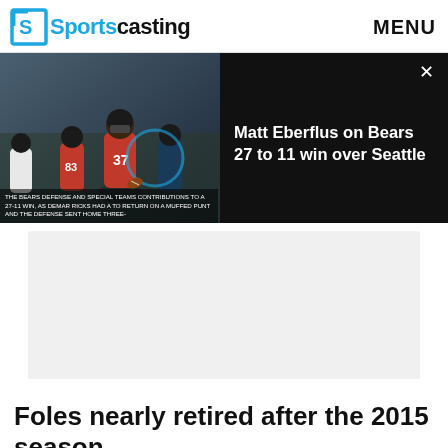Sportscasting MENU
[Figure (screenshot): Sports news website screenshot showing NFL Bears vs Seahawks football players on left, and video overlay on right with text: Matt Eberflus on Bears 27 to 11 win over Seattle]
THE BEARS DEFENSE AND SPECIAL TEAMS CONTRIBUTIONS TO A 27-11 WIN, AS DEMAR RICKS HAD A TD RETURN ON A MUFFED PUNT AND THE DEFENSE SENT HOME THREE-
[Figure (other): Gray advertisement placeholder block]
Foles nearly retired after the 2015 season
CBS Sports ✓